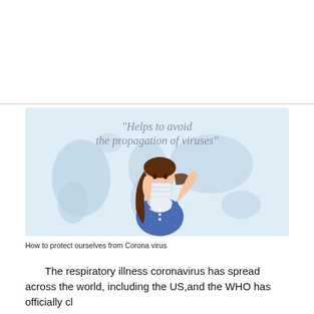[Figure (illustration): Illustration of a girl wearing a face mask standing in front of a world map background, with cursive text reading: "Helps to avoid the propagation of viruses"]
How to protect ourselves from Corona virus
The respiratory illness coronavirus has spread across the world, including the US,and the WHO has officially cl...